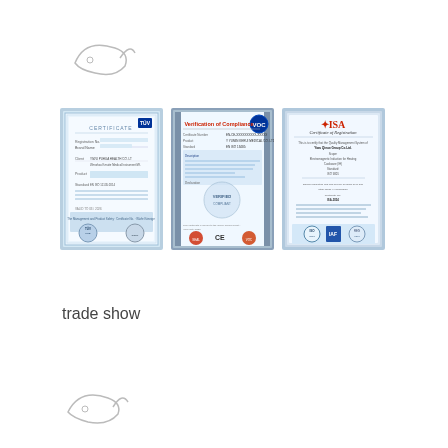[Figure (logo): Company logo top - stylized fish/swoosh outline in light gray]
[Figure (photo): Three certification documents side by side: a CE/TUV certificate, a Verification of Compliance certificate with VOC mark, and an ISA Certificate of Registration. Each has decorative border, official seals, and stamps.]
trade show
[Figure (logo): Company logo bottom - stylized fish/swoosh outline in light gray]